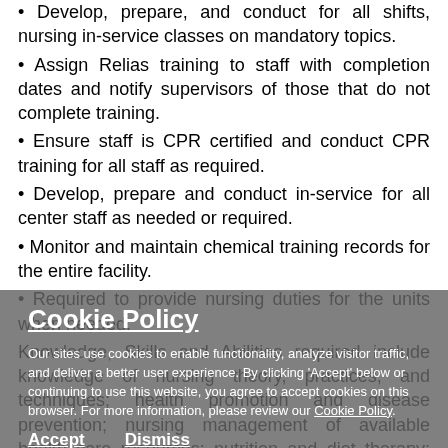Develop, prepare, and conduct for all shifts, nursing in-service classes on mandatory topics.
Assign Relias training to staff with completion dates and notify supervisors of those that do not complete training.
Ensure staff is CPR certified and conduct CPR training for all staff as required.
Develop, prepare and conduct in-service for all center staff as needed or required.
Monitor and maintain chemical training records for the entire facility.
Required to provide nursing duties for the units when needed.
Knowledge, Skills and Abilities required include knowledge of nursing theory, practices, and techniques; health promotion and disease prevention; nursing management of available health care resources; nutrition and diet therapy; and the functions of various clinical departments. Ability to assist in the development, organization, and implementation of an effective nursing care plan/program; provide education
Cookie Policy
Our sites use cookies to enable functionality, analyze visitor traffic, and deliver a better user experience. By clicking 'Accept' below or continuing to use this website, you agree to accept cookies on this browser. For more information, please review our Cookie Policy.
Accept   Dismiss